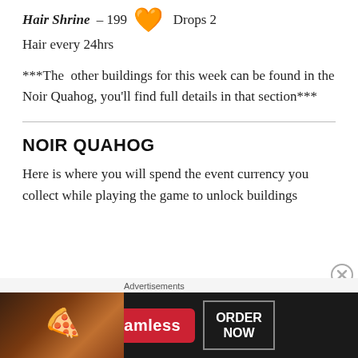Hair Shrine – 199 🧡 Drops 2 Hair every 24hrs
***The other buildings for this week can be found in the Noir Quahog, you'll find full details in that section***
NOIR QUAHOG
Here is where you will spend the event currency you collect while playing the game to unlock buildings
[Figure (screenshot): Seamless food delivery advertisement banner with pizza image on left, Seamless red logo in center, and ORDER NOW button on right]
Advertisements